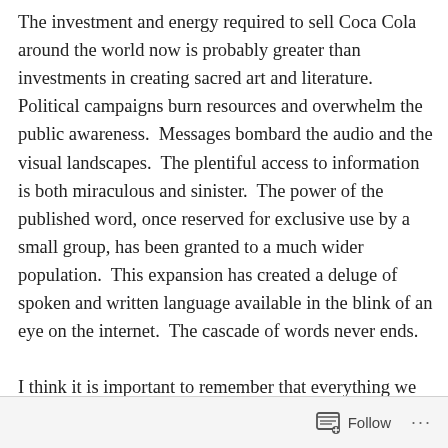The investment and energy required to sell Coca Cola around the world now is probably greater than investments in creating sacred art and literature.  Political campaigns burn resources and overwhelm the public awareness.  Messages bombard the audio and the visual landscapes.  The plentiful access to information is both miraculous and sinister.  The power of the published word, once reserved for exclusive use by a small group, has been granted to a much wider population.  This expansion has created a deluge of spoken and written language available in the blink of an eye on the internet.  The cascade of words never ends.

I think it is important to remember that everything we read, write, say, hear, and repeat (or retweet) is power. How do
Follow ···